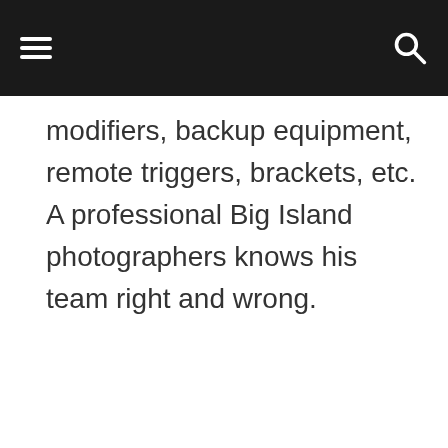modifiers, backup equipment, remote triggers, brackets, etc. A professional Big Island photographers knows his team right and wrong.